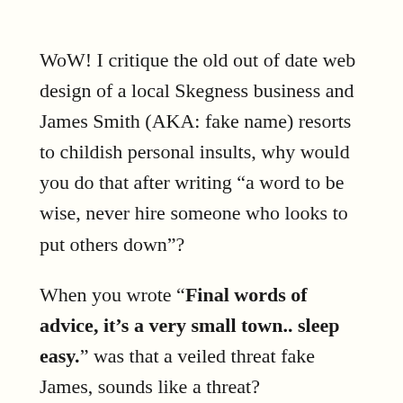WoW! I critique the old out of date web design of a local Skegness business and James Smith (AKA: fake name) resorts to childish personal insults, why would you do that after writing “a word to be wise, never hire someone who looks to put others down”?
When you wrote “Final words of advice, it’s a very small town.. sleep easy.” was that a veiled threat fake James, sounds like a threat?
You do know it is illegal to threaten people